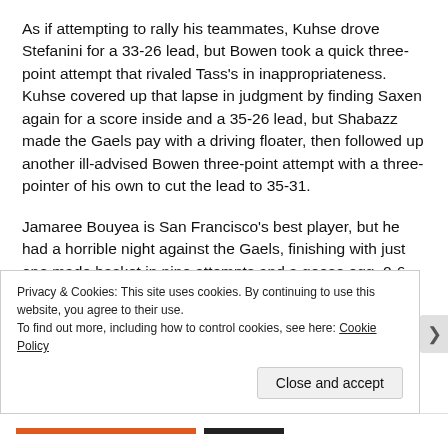As if attempting to rally his teammates, Kuhse drove Stefanini for a 33-26 lead, but Bowen took a quick three-point attempt that rivaled Tass's in inappropriateness. Kuhse covered up that lapse in judgment by finding Saxen again for a score inside and a 35-26 lead, but Shabazz made the Gaels pay with a driving floater, then followed up another ill-advised Bowen three-point attempt with a three-pointer of his own to cut the lead to 35-31.
Jamaree Bouyea is San Francisco's best player, but he had a horrible night against the Gaels, finishing with just one made basket in nine attempts and a goose egg, 0-6, on three-point attempts. But he was not alone in struggling against...
Privacy & Cookies: This site uses cookies. By continuing to use this website, you agree to their use.
To find out more, including how to control cookies, see here: Cookie Policy